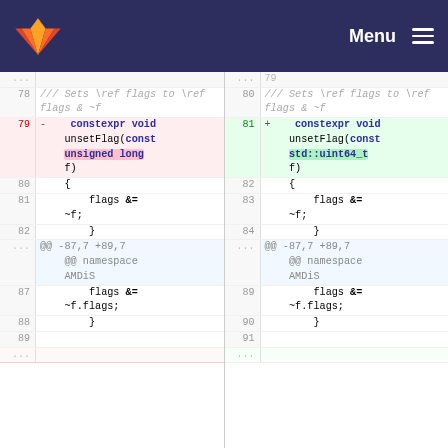GitLab Menu
[Figure (screenshot): Code diff view showing two panes side by side. Left pane (old) has line numbers 77-89+, right pane (new) has line numbers 79-91+. Changes show replacement of 'unsigned long' with 'std::uint64_t' in unsetFlag function parameter.]